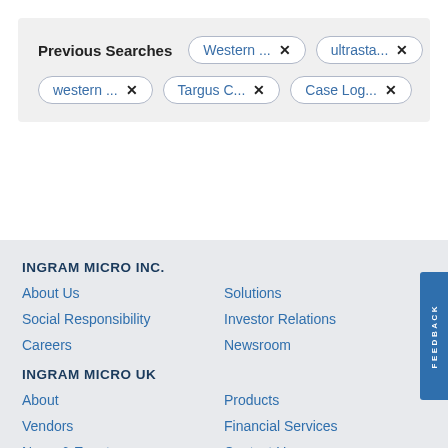Previous Searches
Western ... ×
ultrasta... ×
western ... ×
Targus C... ×
Case Log... ×
INGRAM MICRO INC.
About Us
Solutions
Social Responsibility
Investor Relations
Careers
Newsroom
INGRAM MICRO UK
About
Products
Vendors
Financial Services
News & Events
Contact Us